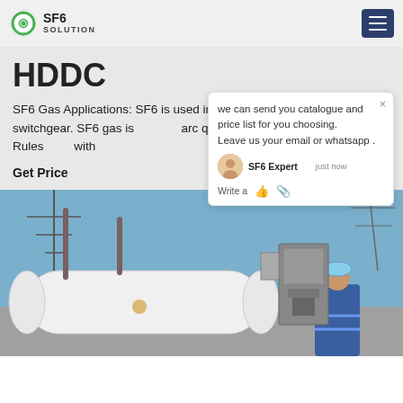SF6 SOLUTION
HDDC
SF6 Gas Applications: SF6 is used in medium and high voltage switchgear. SF6 gas is arc quenching and insulating gas. Rules with
Get Price
[Figure (screenshot): Chat popup overlay showing message: 'we can send you catalogue and price list for you choosing. Leave us your email or whatsapp.' with SF6 Expert avatar and 'just now' timestamp and Write a message row with thumbs up and paperclip icons]
[Figure (photo): Industrial photo showing large white cylindrical SF6 gas tank/equipment at an electrical substation with transmission towers visible, a worker in blue coveralls and hard hat visible at right side]